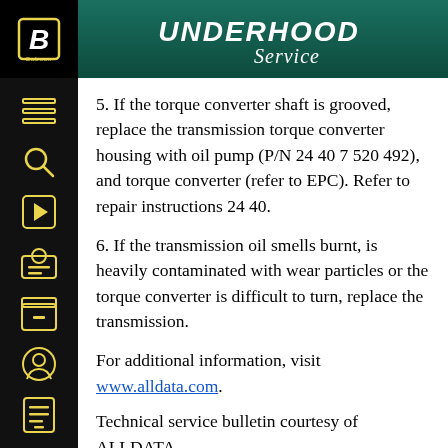UNDERHOOD Service
5. If the torque converter shaft is grooved, replace the transmission torque converter housing with oil pump (P/N 24 40 7 520 492), and torque converter (refer to EPC). Refer to repair instructions 24 40.
6. If the transmission oil smells burnt, is heavily contaminated with wear particles or the torque converter is difficult to turn, replace the transmission.
For additional information, visit www.alldata.com.
Technical service bulletin courtesy of ALLDATA.